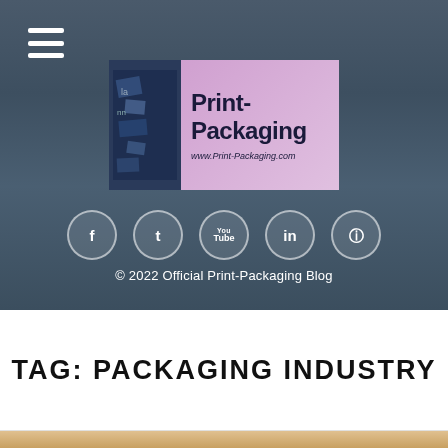[Figure (photo): Hero banner with dark background showing a printing/packaging trade show floor. Contains Print-Packaging logo, hamburger menu, social media icons, and copyright text.]
TAG: PACKAGING INDUSTRY
[Figure (photo): Partial bottom image showing a warm-toned surface, cropped at page edge.]